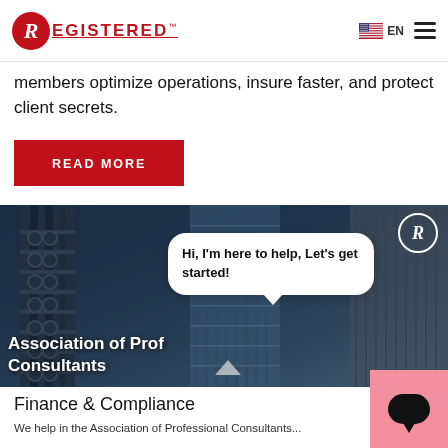REGISTERED™ | EN
members optimize operations, insure faster, and protect client secrets.
READ MORE
[Figure (photo): Banner photo of modern steel and glass skyscrapers with pipes and structural elements in the foreground, dark blue toned. Includes Registered logo circle top-right and text 'Association of Prof... Consultants' bottom-left. A chat bubble overlay reads: Hi, I'm here to help, Let's get started!]
Finance & Compliance
We help in the Association of Professional Consultants...